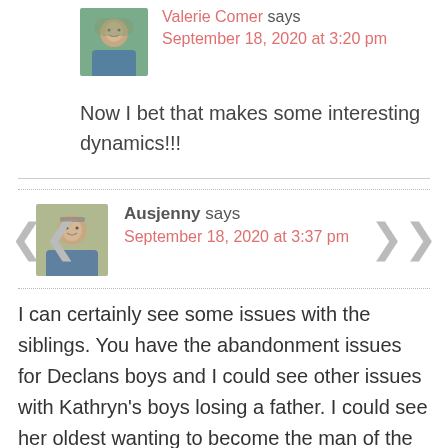[Figure (photo): Avatar photo of Valerie Comer, older woman with glasses outdoors]
Valerie Comer says
September 18, 2020 at 3:20 pm
Now I bet that makes some interesting dynamics!!!
[Figure (photo): Avatar photo of Ausjenny, older woman with glasses]
Ausjenny says
September 18, 2020 at 3:37 pm
I can certainly see some issues with the siblings. You have the abandonment issues for Declans boys and I could see other issues with Kathryn's boys losing a father. I could see her oldest wanting to become the man of the house (thats what happened when dad died when I was 11, my brother tried to act like he was